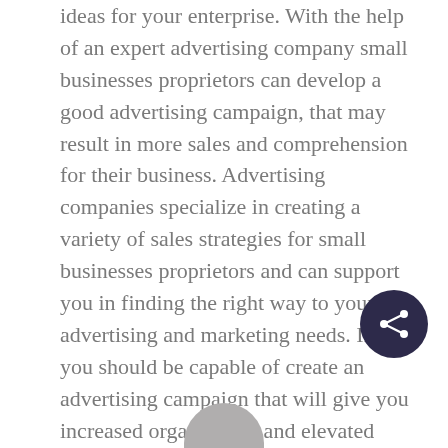ideas for your enterprise. With the help of an expert advertising company small businesses proprietors can develop a good advertising campaign, that may result in more sales and comprehension for their business. Advertising companies specialize in creating a variety of sales strategies for small businesses proprietors and can support you in finding the right way to your advertising and marketing needs. In turn you should be capable of create an advertising campaign that will give you increased organization and elevated profits.
[Figure (illustration): Dark navy circular share/social button with a share icon (three connected dots) in white, positioned bottom-right of the page.]
[Figure (illustration): Partial grey avatar/profile circle visible at the very bottom center of the page, cropped by the page edge.]